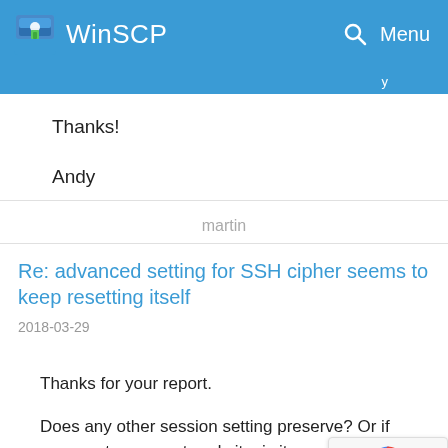WinSCP   Menu
Thanks!
Andy
martin
Re: advanced setting for SSH cipher seems to keep resetting itself
2018-03-29
Thanks for your report.
Does any other session setting preserve? Or if you create a new stored site, is it preserved?